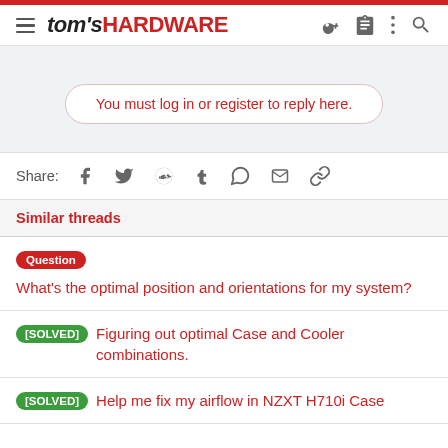tom's HARDWARE
You must log in or register to reply here.
Share:
Similar threads
Question What's the optimal position and orientations for my system?
[SOLVED] Figuring out optimal Case and Cooler combinations.
[SOLVED] Help me fix my airflow in NZXT H710i Case